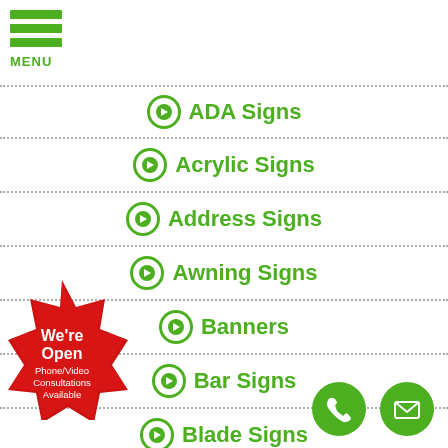[Figure (infographic): Hamburger menu icon with three green bars and MENU label]
ADA Signs
Acrylic Signs
Address Signs
Awning Signs
Banners
Bar Signs
Blade Signs
Boat Wraps
[Figure (infographic): Red star burst badge with text: We're Open Phone/Video Consultations Available]
[Figure (infographic): Green circle phone icon button]
[Figure (infographic): Green circle email/envelope icon button]